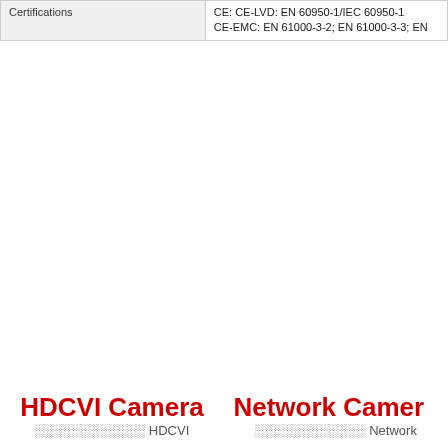| Certifications | CE: CE-LVD: EN 60950-1/IEC 60950-1 CE-EMC: EN 61000-3-2; EN 61000-3-3; EN... |
| --- | --- |
| Certifications | CE: CE-LVD: EN 60950-1/IEC 60950-1 CE-EMC: EN 61000-3-2; EN 61000-3-3; EN |
HDCVI Camera
░░░░░░░░░░░░ HDCVI
Network Camera
░░░░░░░░░░░░ Network